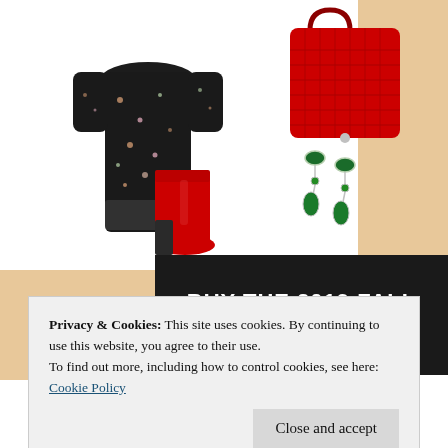[Figure (illustration): Fashion collage showing a black floral dress, red crocodile tote bag, red ankle boots, and green drop earrings arranged on a white and tan background]
BUY THE 2019 FALL TRENDS FOR LESS
Privacy & Cookies: This site uses cookies. By continuing to use this website, you agree to their use.
To find out more, including how to control cookies, see here: Cookie Policy
Close and accept